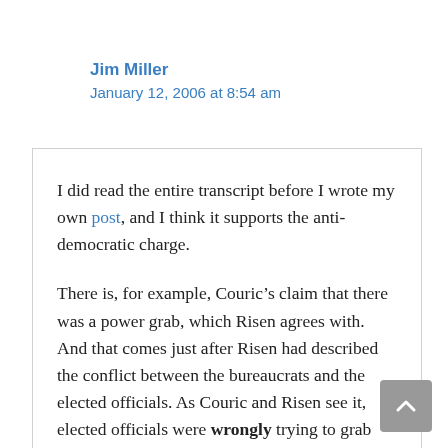Jim Miller
January 12, 2006 at 8:54 am
I did read the entire transcript before I wrote my own post, and I think it supports the anti-democratic charge.
There is, for example, Couric’s claim that there was a power grab, which Risen agrees with. And that comes just after Risen had described the conflict between the bureaucrats and the elected officials. As Couric and Risen see it, elected officials were wrongly trying to grab power from